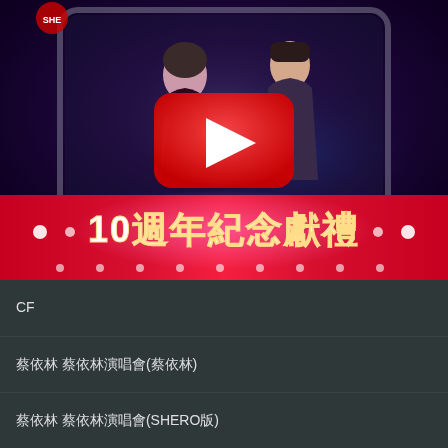[Figure (screenshot): YouTube video thumbnail showing two performers on stage with a red banner reading '10週年紀念獻禮' (10th Anniversary Commemorative Gift). A large red YouTube play button is overlaid in the center.]
CF
蔡依林 蔡依林演唱會(蔡依林)
蔡依林 蔡依林演唱會(SHERO版)
蔡依林 蔡依林演唱會(蔡依林)